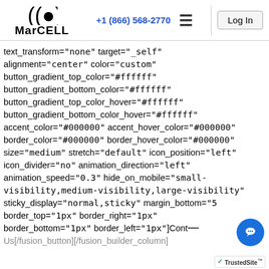MarCELL | +1 (866) 568-2770 | Log In
text_transform="none" target="_self" alignment="center" color="custom" button_gradient_top_color="#ffffff" button_gradient_bottom_color="#ffffff" button_gradient_top_color_hover="#ffffff" button_gradient_bottom_color_hover="#ffffff" accent_color="#000000" accent_hover_color="#000000" border_color="#000000" border_hover_color="#000000" size="medium" stretch="default" icon_position="left" icon_divider="no" animation_direction="left" animation_speed="0.3" hide_on_mobile="small-visibility,medium-visibility,large-visibility" sticky_display="normal,sticky" margin_bottom="5 border_top="1px" border_right="1px" border_bottom="1px" border_left="1px"]Cont... Us[/fusion_button][/fusion_builder_column]